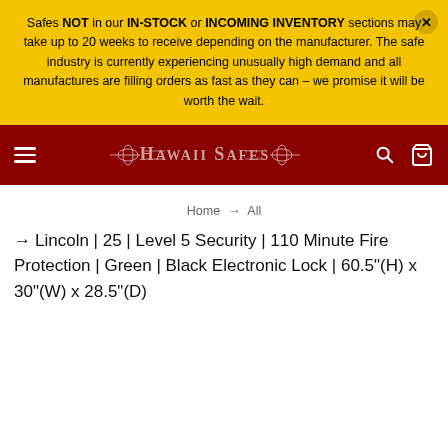Safes NOT in our IN-STOCK or INCOMING INVENTORY sections may take up to 20 weeks to receive depending on the manufacturer. The safe industry is currently experiencing unusually high demand and all manufactures are filling orders as fast as they can – we promise it will be worth the wait.
[Figure (logo): Hawaii Safes logo on dark red navigation bar with hamburger menu, search icon, and cart icon]
Home → All
Lincoln | 25 | Level 5 Security | 110 Minute Fire Protection | Green | Black Electronic Lock | 60.5"(H) x 30"(W) x 28.5"(D)